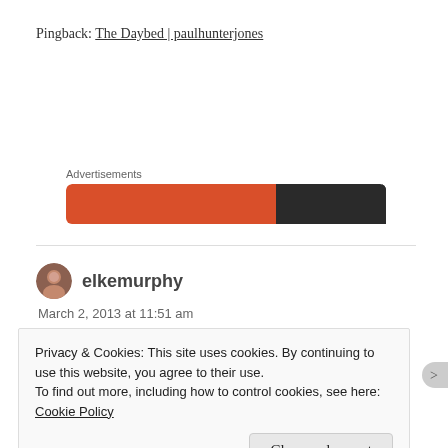Pingback: The Daybed | paulhunterjones
Advertisements
[Figure (other): Orange and dark advertisement banner]
elkemurphy
March 2, 2013 at 11:51 am
Privacy & Cookies: This site uses cookies. By continuing to use this website, you agree to their use.
To find out more, including how to control cookies, see here: Cookie Policy
Close and accept